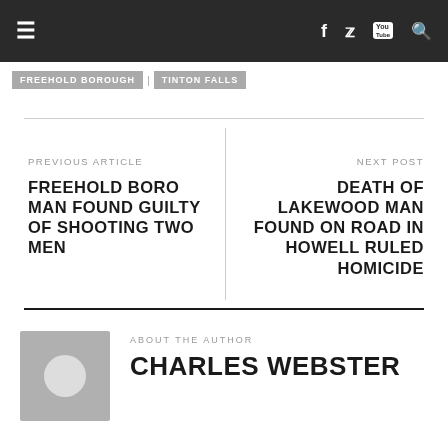≡  f  🐦  YouTube  🔍
FREEHOLD BOROUGH | TINTON FALLS
PREVIOUS ARTICLE
FREEHOLD BORO MAN FOUND GUILTY OF SHOOTING TWO MEN
NEXT POST
DEATH OF LAKEWOOD MAN FOUND ON ROAD IN HOWELL RULED HOMICIDE
ABOUT THE AUTHOR
CHARLES WEBSTER